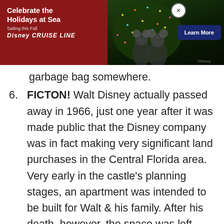[Figure (photo): Disney Cruise Line advertisement banner showing Mickey Mouse and Minnie Mouse in front of a Christmas tree, with 'Celebrate the Holidays at Sea - Sailing this Fall - Disney CRUISE LINE' text and a 'Learn More' button]
garbage bag somewhere.
6. FICTON! Walt Disney actually passed away in 1966, just one year after it was made public that the Disney company was in fact making very significant land purchases in the Central Florida area. Very early in the castle's planning stages, an apartment was intended to be built for Walt & his family. After his death, however, the space was left